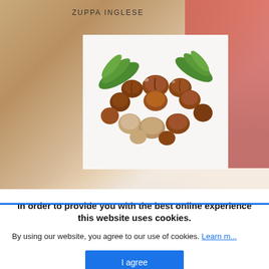ZUPPA INGLESE
[Figure (photo): Photo of a pile of mixed hazelnuts, some shelled and some with shells, garnished with green fern leaves on a white background]
In order to provide you with the best online experience this website uses cookies.
By using our website, you agree to our use of cookies. Learn m...
I agree
NOCCIOLA